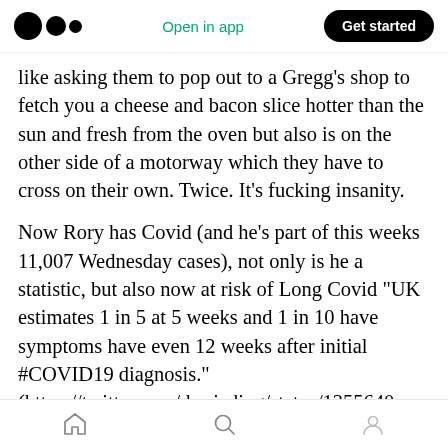Medium logo | Open in app | Get started
like asking them to pop out to a Gregg’s shop to fetch you a cheese and bacon slice hotter than the sun and fresh from the oven but also is on the other side of a motorway which they have to cross on their own. Twice. It’s fucking insanity.
Now Rory has Covid (and he’s part of this weeks 11,007 Wednesday cases), not only is he a statistic, but also now at risk of Long Covid “UK estimates 1 in 5 at 5 weeks and 1 in 10 have symptoms have even 12 weeks after initial #COVID19 diagnosis.” (https://twitter.com/drericding/status/1355640
Home | Search | Profile